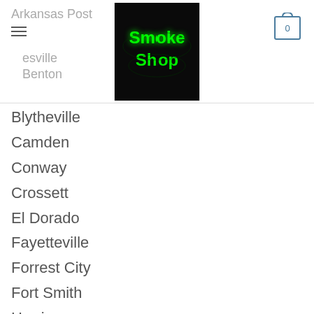Arkansas Post Smoke Shop - Navigation menu
Blytheville
Camden
Conway
Crossett
El Dorado
Fayetteville
Forrest City
Fort Smith
Harrison
Helena
Hope
Hot Springs
Jacksonville
Jonesboro
Little Rock